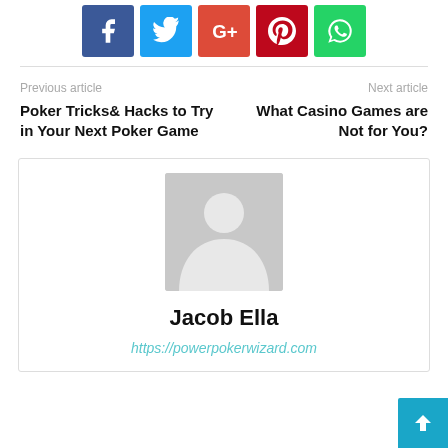[Figure (infographic): Social sharing buttons: Facebook (blue), Twitter (light blue), Google+ (red-orange), Pinterest (dark red), WhatsApp (green)]
Previous article
Next article
Poker Tricks& Hacks to Try in Your Next Poker Game
What Casino Games are Not for You?
[Figure (photo): Author avatar placeholder — grey rectangle with white silhouette person icon]
Jacob Ella
https://powerpokerwizard.com